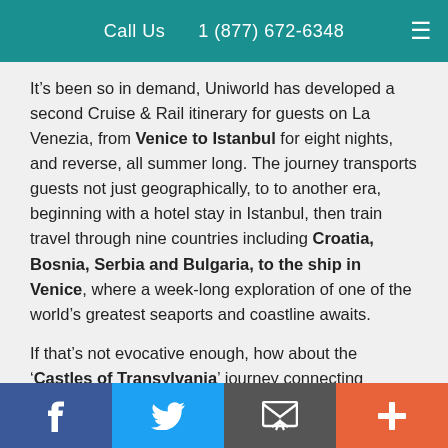Call Us  1 (877) 672-6348
It’s been so in demand, Uniworld has developed a second Cruise & Rail itinerary for guests on La Venezia, from Venice to Istanbul for eight nights, and reverse, all summer long. The journey transports guests not just geographically, to to another era, beginning with a hotel stay in Istanbul, then train travel through nine countries including Croatia, Bosnia, Serbia and Bulgaria, to the ship in Venice, where a week-long exploration of one of the world’s greatest seaports and coastline awaits.
If that’s not evocative enough, how about the ‘Castles of Transylvania’ journey connecting Golden Eagle’s Danube Express train with Uniworld’s ‘Enchanting Danube’ cruise, onboard the cruise line’s regal ship
f  [twitter]  [email]  +